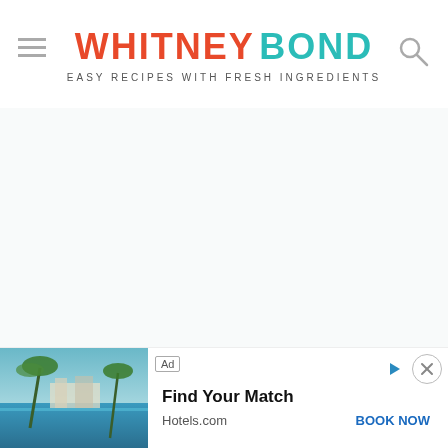WHITNEY BOND — EASY RECIPES WITH FRESH INGREDIENTS
Add these delicious mock stamininos to complete...
[Figure (other): Large white/empty content area, likely a recipe image or content block not loaded]
Grilled Pineapple Tomatillo Guacamole
Fr...
[Figure (photo): Advertisement banner from Hotels.com showing a tropical resort pool scene with palm trees. Text: 'Find Your Match', 'Hotels.com', 'BOOK NOW']